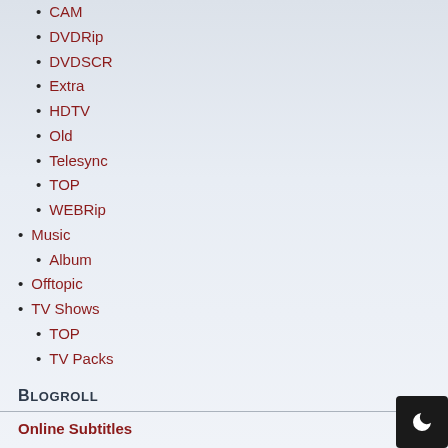CAM
DVDRip
DVDSCR
Extra
HDTV
Old
Telesync
TOP
WEBRip
Music
Album
Offtopic
TV Shows
TOP
TV Packs
Blogroll
Online Subtitles
Scene WiKi
The Warez Scene: How it works
Nuke Dictionary